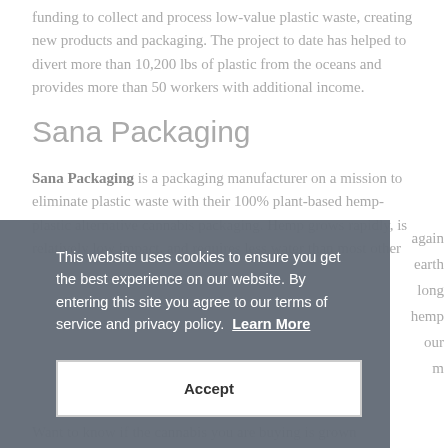funding to collect and process low-value plastic waste, creating new products and packaging. The project to date has helped to divert more than 10,200 lbs of plastic from the oceans and provides more than 50 workers with additional income.
Sana Packaging
Sana Packaging is a packaging manufacturer on a mission to eliminate plastic waste with their 100% plant-based hemp-plastic alternative cannabis packaging. Hemp grows rapidly, is relatively low impact, and requires less water than most other crops. It also sequesters carbon and replenishes earth nutrients, which means it benefits the ecosystem. along with their use of reclaimed ocean-bound plastic and hemp materials, Sana Packaging is diverting waste from our landfills and oceans and keeping carbon out of the atmosphere from end-of-life disposal.
This website uses cookies to ensure you get the best experience on our website. By entering this site you agree to our terms of service and privacy policy. Learn More
Accept
Want to know if the cannabis you are buying is grown